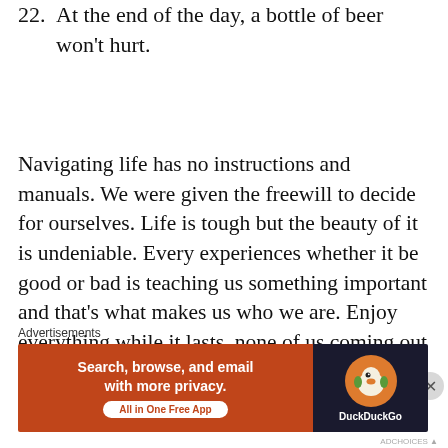22. At the end of the day, a bottle of beer won't hurt.
Navigating life has no instructions and manuals. We were given the freewill to decide for ourselves. Life is tough but the beauty of it is undeniable. Every experiences whether it be good or bad is teaching us something important and that's what makes us who we are. Enjoy everything while it lasts, none of us coming out of this world alive. Dance like no one's watching
Advertisements
[Figure (other): DuckDuckGo advertisement banner: orange left panel with text 'Search, browse, and email with more privacy. All in One Free App' and dark right panel with DuckDuckGo logo and brand name.]